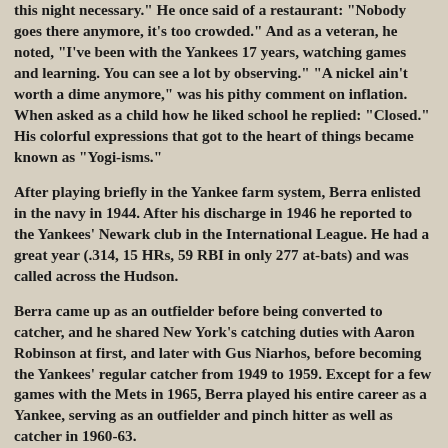this night necessary." He once said of a restaurant: "Nobody goes there anymore, it's too crowded." And as a veteran, he noted, "I've been with the Yankees 17 years, watching games and learning. You can see a lot by observing." "A nickel ain't worth a dime anymore," was his pithy comment on inflation. When asked as a child how he liked school he replied: "Closed." His colorful expressions that got to the heart of things became known as "Yogi-isms."
After playing briefly in the Yankee farm system, Berra enlisted in the navy in 1944. After his discharge in 1946 he reported to the Yankees' Newark club in the International League. He had a great year (.314, 15 HRs, 59 RBI in only 277 at-bats) and was called across the Hudson.
Berra came up as an outfielder before being converted to catcher, and he shared New York's catching duties with Aaron Robinson at first, and later with Gus Niarhos, before becoming the Yankees' regular catcher from 1949 to 1959. Except for a few games with the Mets in 1965, Berra played his entire career as a Yankee, serving as an outfielder and pinch hitter as well as catcher in 1960-63.
When his career was over, Berra had played on a record ten World Series champions. He also played in an unmatched 14